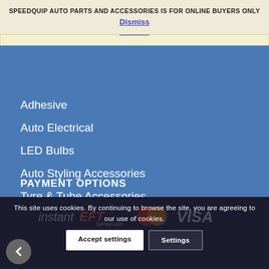SPEEDQUIP AUTO PARTS AND ACCESSORIES IS FOR ONLINE BUYERS ONLY
Dismiss
Adhesive
Auto Electrical
LED Bulbs
Auto Styling Accessories
Tyre & Tube Accessories
PAYMENT OPTIONS
[Figure (other): Payment logos including instantEFT and VISA watermarks]
This site uses cookies. By continuing to browse the site, you are agreeing to our use of cookies.
Accept settings
Settings